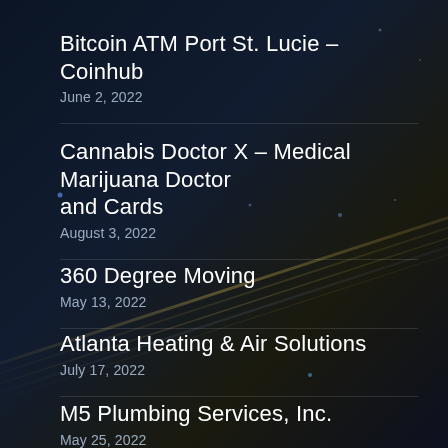Bitcoin ATM Port St. Lucie – Coinhub
June 2, 2022
Cannabis Doctor X – Medical Marijuana Doctor and Cards
August 3, 2022
360 Degree Moving
May 13, 2022
Atlanta Heating & Air Solutions
July 17, 2022
M5 Plumbing Services, Inc.
May 25, 2022